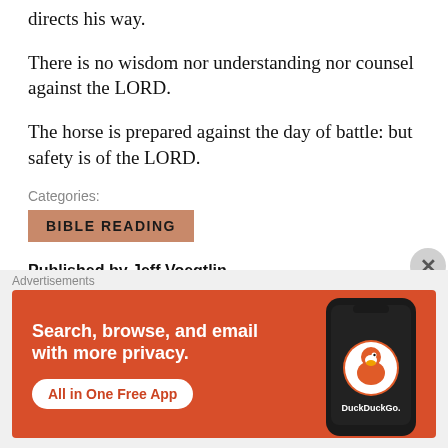A wicked man hardens his face: but as for the upright, he directs his way.
There is no wisdom nor understanding nor counsel against the LORD.
The horse is prepared against the day of battle: but safety is of the LORD.
Categories:
BIBLE READING
Published by Jeff Voegtlin
Dr. Jeff Voegtlin has been in Christian service for over twenty
[Figure (infographic): DuckDuckGo advertisement banner: orange background with white bold text 'Search, browse, and email with more privacy.' and a white pill-shaped button 'All in One Free App' with a DuckDuckGo duck logo on a phone mockup on the right side.]